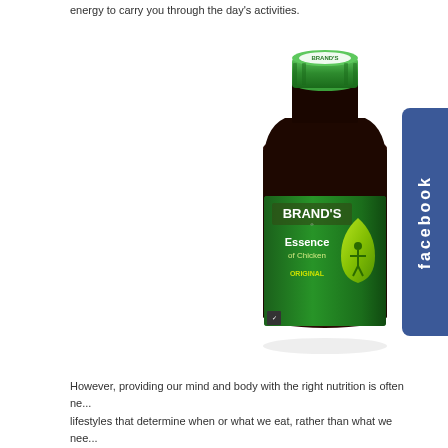energy to carry you through the day's activities.
[Figure (photo): Brand's Essence of Chicken Original product bottle with green cap and green label featuring a drop shape with a silhouette figure inside]
[Figure (logo): Facebook tab/button on the right side in blue with white text reading 'facebook' rotated vertically]
However, providing our mind and body with the right nutrition is often ne... lifestyles that determine when or what we eat, rather than what we nee...